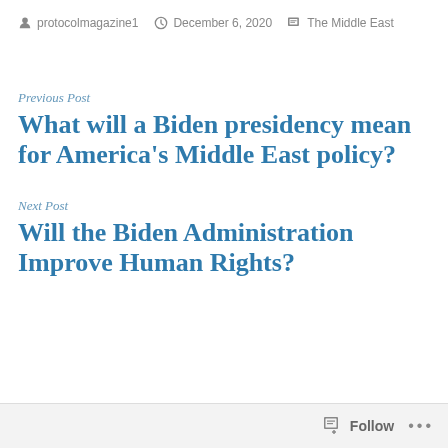protocolmagazine1   December 6, 2020   The Middle East
Previous Post
What will a Biden presidency mean for America's Middle East policy?
Next Post
Will the Biden Administration Improve Human Rights?
Follow ...